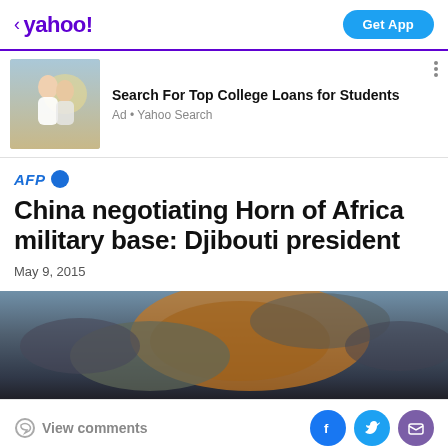< yahoo!  Get App
[Figure (photo): Ad banner with two people smiling outdoors in a field]
Search For Top College Loans for Students
Ad • Yahoo Search
AFP
China negotiating Horn of Africa military base: Djibouti president
May 9, 2015
[Figure (photo): Dramatic cloudy sky with orange and grey clouds]
View comments